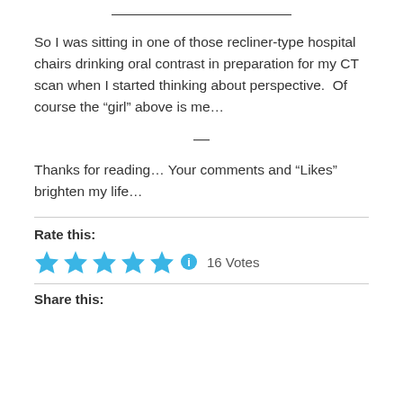So I was sitting in one of those recliner-type hospital chairs drinking oral contrast in preparation for my CT scan when I started thinking about perspective.  Of course the “girl” above is me…
Thanks for reading… Your comments and “Likes” brighten my life…
Rate this:
16 Votes
Share this: